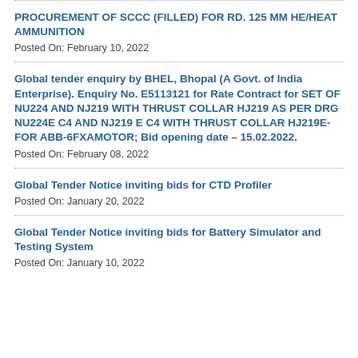PROCUREMENT OF SCCC (FILLED) FOR RD. 125 MM HE/HEAT AMMUNITION
Posted On: February 10, 2022
Global tender enquiry by BHEL, Bhopal (A Govt. of India Enterprise). Enquiry No. E5113121 for Rate Contract for SET OF NU224 AND NJ219 WITH THRUST COLLAR HJ219 AS PER DRG NU224E C4 AND NJ219 E C4 WITH THRUST COLLAR HJ219E-FOR ABB-6FXAMOTOR; Bid opening date – 15.02.2022.
Posted On: February 08, 2022
Global Tender Notice inviting bids for CTD Profiler
Posted On: January 20, 2022
Global Tender Notice inviting bids for Battery Simulator and Testing System
Posted On: January 10, 2022